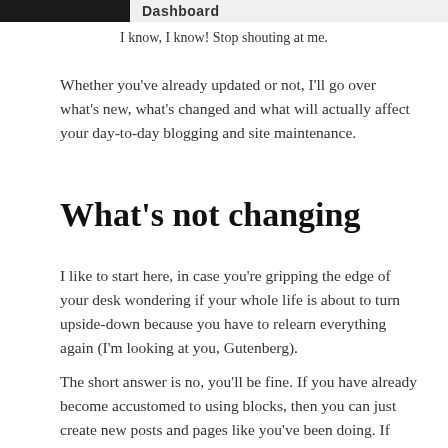Dashboard
I know, I know! Stop shouting at me.
Whether you've already updated or not, I'll go over what's new, what's changed and what will actually affect your day-to-day blogging and site maintenance.
What's not changing
I like to start here, in case you're gripping the edge of your desk wondering if your whole life is about to turn upside-down because you have to relearn everything again (I'm looking at you, Gutenberg).
The short answer is no, you'll be fine. If you have already become accustomed to using blocks, then you can just create new posts and pages like you've been doing. If you're still using that Classic Editor block, you